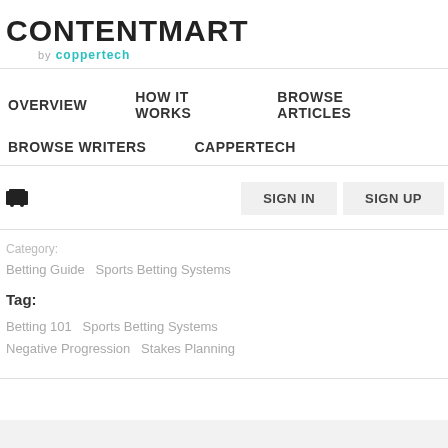[Figure (logo): CONTENTMART by coppertech logo]
OVERVIEW   HOW IT WORKS   BROWSE ARTICLES   BROWSE WRITERS   CAPPERTECH
Cart icon, SIGN IN, SIGN UP buttons
Category: Betting Guide  Sports Betting Systems
Tag: Betting 101  Sports Betting Systems  Negative Progression  Stakes Planning